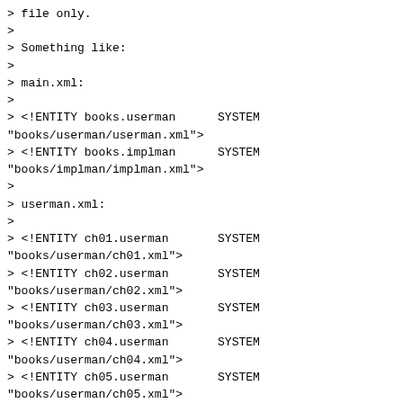> file only.
>
> Something like:
>
> main.xml:
>
> <!ENTITY books.userman      SYSTEM "books/userman/userman.xml">
> <!ENTITY books.implman      SYSTEM "books/implman/implman.xml">
>
> userman.xml:
>
> <!ENTITY ch01.userman       SYSTEM "books/userman/ch01.xml">
> <!ENTITY ch02.userman       SYSTEM "books/userman/ch02.xml">
> <!ENTITY ch03.userman       SYSTEM "books/userman/ch03.xml">
> <!ENTITY ch04.userman       SYSTEM "books/userman/ch04.xml">
> <!ENTITY ch05.userman       SYSTEM "books/userman/ch05.xml">
>
> ch02.xml:
>
> <!ENTITY ch02.userman.inbound  SYSTEM "books/userman/ch02_inbound.xml">
> <!ENTITY ch02.userman.storage  SYSTEM "books/userman/ch02.storage.xml">